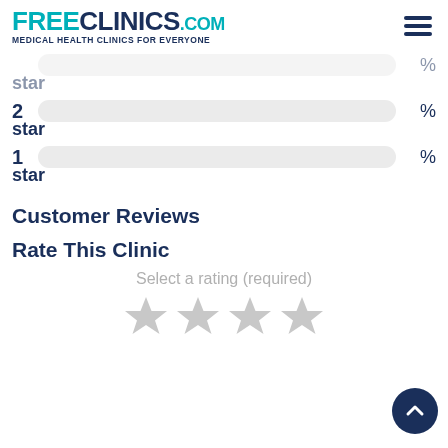FREECLINICS.COM - Medical Health Clinics For Everyone
2 star %
1 star %
Customer Reviews
Rate This Clinic
Select a rating (required)